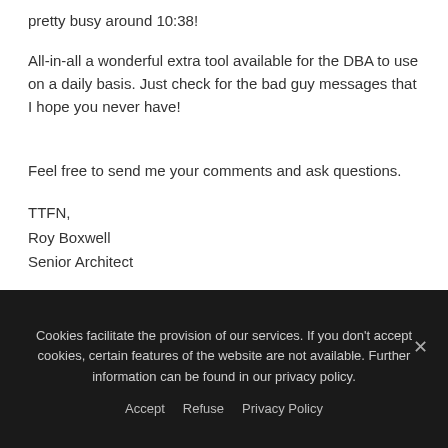pretty busy around 10:38!
All-in-all a wonderful extra tool available for the DBA to use on a daily basis. Just check for the bad guy messages that I hope you never have!
Feel free to send me your comments and ask questions.
TTFN,
Roy Boxwell
Senior Architect
Cookies facilitate the provision of our services. If you don't accept cookies, certain features of the website are not available. Further information can be found in our privacy policy.
Accept   Refuse   Privacy Policy